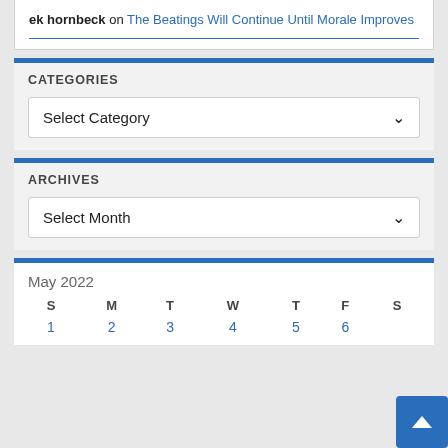ek hornbeck on The Beatings Will Continue Until Morale Improves
CATEGORIES
Select Category
ARCHIVES
Select Month
| S | M | T | W | T | F | S |
| --- | --- | --- | --- | --- | --- | --- |
| 1 | 2 | 3 | 4 | 5 | 6 |  |